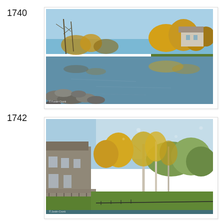1740
[Figure (photo): Autumn landscape with a calm river reflecting golden-leafed trees. Rocky foreground on the left, a house visible among yellow trees on the right bank, clear blue sky.]
1742
[Figure (photo): Autumn landscape showing a house on the left surrounded by golden and orange trees, a green lawn leading to a waterway, with birch trees and forest in the background under a blue sky.]